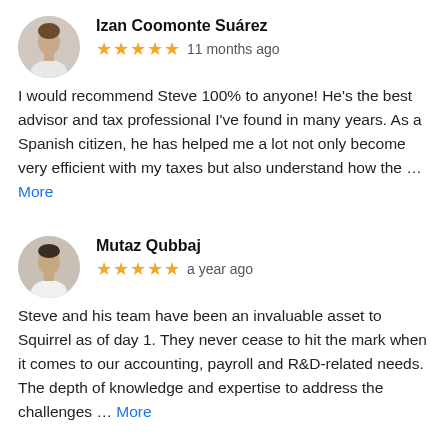[Figure (photo): Profile photo of Izan Coomonte Suárez, a man in a white shirt]
Izan Coomonte Suárez
★★★★★  11 months ago
I would recommend Steve 100% to anyone! He's the best advisor and tax professional I've found in many years. As a Spanish citizen, he has helped me a lot not only become very efficient with my taxes but also understand how the … More
[Figure (photo): Profile photo of Mutaz Qubbaj, a man in a white shirt]
Mutaz Qubbaj
★★★★★  a year ago
Steve and his team have been an invaluable asset to Squirrel as of day 1. They never cease to hit the mark when it comes to our accounting, payroll and R&D-related needs. The depth of knowledge and expertise to address the challenges … More